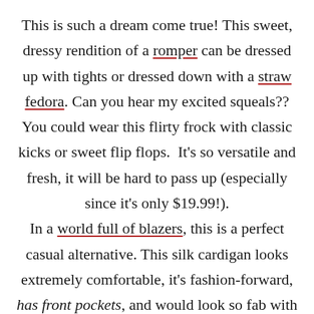This is such a dream come true! This sweet, dressy rendition of a romper can be dressed up with tights or dressed down with a straw fedora. Can you hear my excited squeals?? You could wear this flirty frock with classic kicks or sweet flip flops.  It's so versatile and fresh, it will be hard to pass up (especially since it's only $19.99!).
In a world full of blazers, this is a perfect casual alternative. This silk cardigan looks extremely comfortable, it's fashion-forward, has front pockets, and would look so fab with all of those